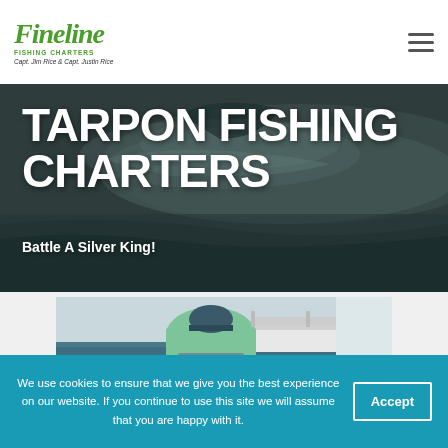Fineline Fishing Charters — Capt. Jim Rice & Capt. Justin Rice
[Figure (photo): Hero background image of tarpon fish scales/body in dark water]
TARPON FISHING CHARTERS
Battle A Silver King!
[Figure (photo): Person in green shirt leaning over side of boat holding tarpon in water]
We use cookies to ensure that we give you the best experience on our website. If you continue to use this site we will assume that you are happy with it.